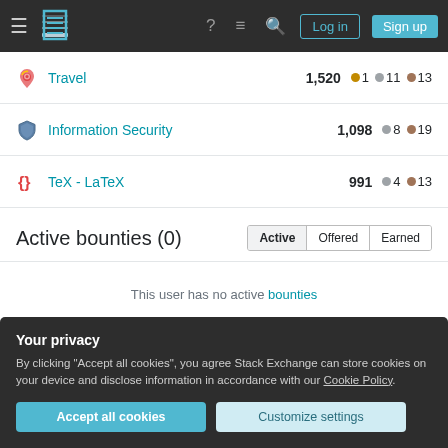Stack Exchange navigation with Log in and Sign up buttons
Travel 1,520 • 1 • 11 • 13
Information Security 1,098 • 8 • 19
TeX - LaTeX 991 • 4 • 13
Active bounties (0)
This user has no active bounties
Your privacy
By clicking "Accept all cookies", you agree Stack Exchange can store cookies on your device and disclose information in accordance with our Cookie Policy.